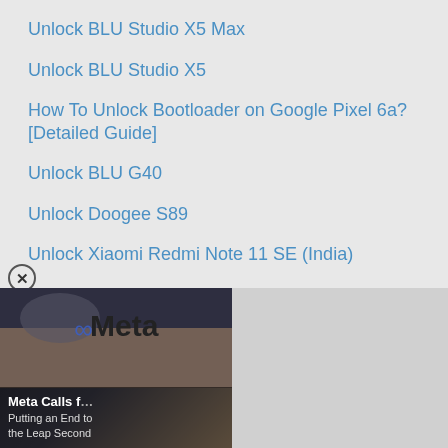Unlock BLU Studio X5 Max
Unlock BLU Studio X5
How To Unlock Bootloader on Google Pixel 6a? [Detailed Guide]
Unlock BLU G40
Unlock Doogee S89
Unlock Xiaomi Redmi Note 11 SE (India)
Unlock Infinix Hot 12 Pro
[Figure (screenshot): Advertisement panel showing Meta branding with text overlay 'Meta Calls f... Putting an End to the Leap Second']